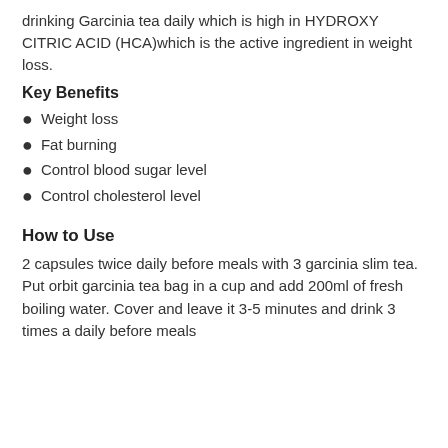drinking Garcinia tea daily which is high in HYDROXY CITRIC ACID (HCA)which is the active ingredient in weight loss.
Key Benefits
Weight loss
Fat burning
Control blood sugar level
Control cholesterol level
How to Use
2 capsules twice daily before meals with 3 garcinia slim tea. Put orbit garcinia tea bag in a cup and add 200ml of fresh boiling water. Cover and leave it 3-5 minutes and drink 3 times a daily before meals